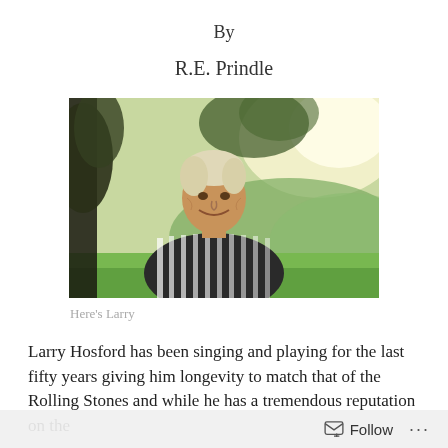By
R.E. Prindle
[Figure (photo): Outdoor photograph of an older man with light blonde hair, wearing a black and white striped shirt, smiling, with trees and hills in the background.]
Here's Larry
Larry Hosford has been singing and playing for the last fifty years giving him longevity to match that of the Rolling Stones and while he has a tremendous reputation on the